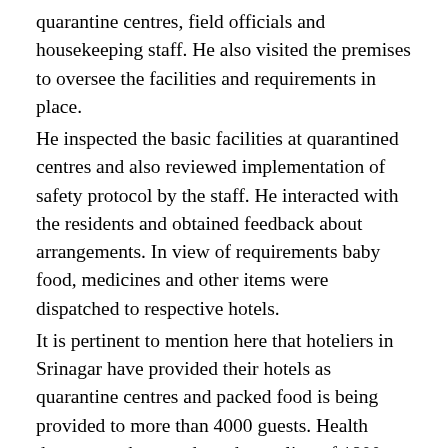quarantine centres, field officials and housekeeping staff. He also visited the premises to oversee the facilities and requirements in place.
He inspected the basic facilities at quarantined centres and also reviewed implementation of safety protocol by the staff. He interacted with the residents and obtained feedback about arrangements. In view of requirements baby food, medicines and other items were dispatched to respective hotels.
It is pertinent to mention here that hoteliers in Srinagar have provided their hotels as quarantine centres and packed food is being provided to more than 4000 guests. Health department has conducted sampling of 1800 persons and more than 500 test reports have been made available. The issue raised by residents about delay in test reports was also discussed threadbare during the visit of Deputy Commissioner and the